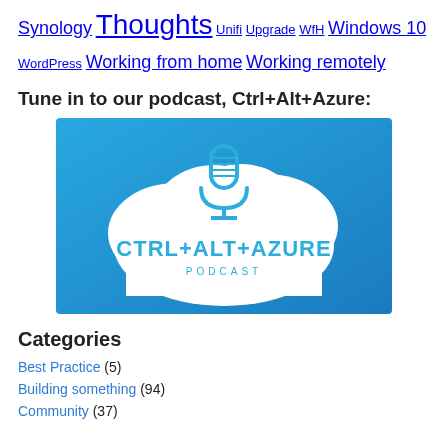Synology  Thoughts  Unifi  Upgrade  WfH  Windows 10  WordPress  Working from home  Working remotely
Tune in to our podcast, Ctrl+Alt+Azure:
[Figure (logo): Ctrl+Alt+Azure Podcast logo: a microphone inside a white cloud on a blue gradient background with the text CTRL+ALT+AZURE PODCAST]
Categories
Best Practice (5)
Building something (94)
Community (37)